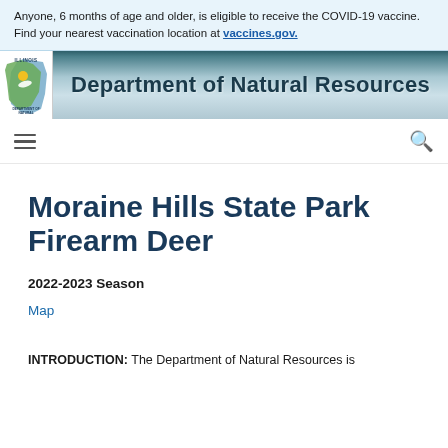Anyone, 6 months of age and older, is eligible to receive the COVID-19 vaccine. Find your nearest vaccination location at vaccines.gov.
[Figure (logo): Illinois Department of Natural Resources logo and header banner with text 'Department of Natural Resources']
Moraine Hills State Park Firearm Deer
2022-2023 Season
Map
INTRODUCTION: The Department of Natural Resources is